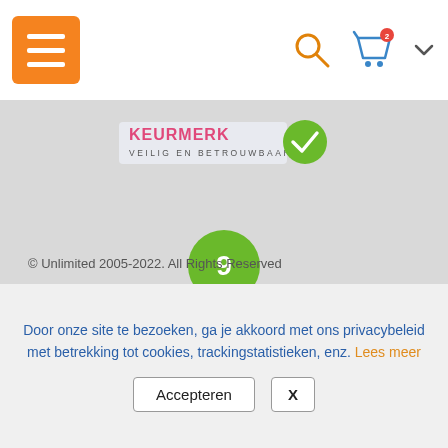[Figure (screenshot): Navigation bar with orange hamburger menu button on left, search icon and shopping cart icon with badge on right]
[Figure (logo): Keurmerk Veilig en Betrouwbaar badge logo]
[Figure (infographic): Green circle with number 9 score rating]
[Figure (logo): Klanten Vertellen logo with text klanten vertellen and a circular checkmark badge]
© Unlimited 2005-2022. All Rights Reserved
Door onze site te bezoeken, ga je akkoord met ons privacybeleid met betrekking tot cookies, trackingstatistieken, enz. Lees meer
Accepteren  X